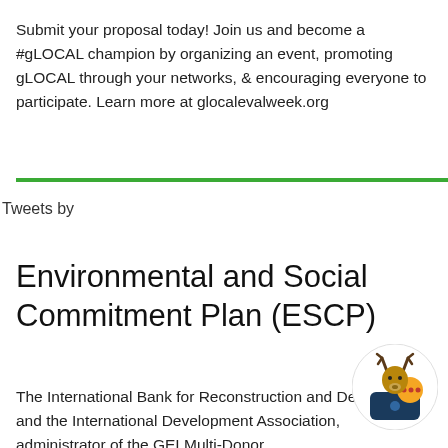Submit your proposal today! Join us and become a #gLOCAL champion by organizing an event, promoting gLOCAL through your networks, & encouraging everyone to participate. Learn more at glocalevalweek.org
Tweets by
Environmental and Social Commitment Plan (ESCP)
The International Bank for Reconstruction and Development and the International Development Association, administrator of the GEI Multi-Donor